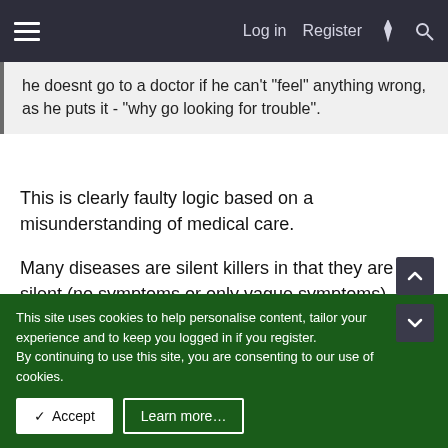Log in  Register
he doesnt go to a doctor if he can't "feel" anything wrong, as he puts it - "why go looking for trouble".
This is clearly faulty logic based on a misunderstanding of medical care.
Many diseases are silent killers in that they are silent (no symptoms or only vague symptoms), and that they are deadly. There are a number of diseases that are known as "silent killers" because they gradually consume you without causing any serious symptoms in the early stages. Regular medical checkups and early diagnosis of unexplained or vague
This site uses cookies to help personalise content, tailor your experience and to keep you logged in if you register.
By continuing to use this site, you are consenting to our use of cookies.